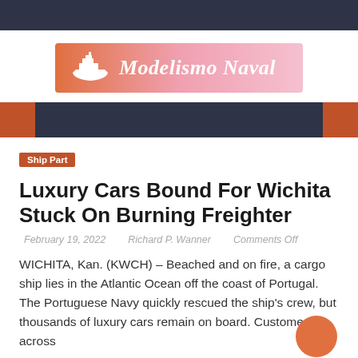[Figure (logo): Modelismo Naval logo banner with ship icon and italic text on orange-to-pink gradient background]
[Figure (other): Dark navy navigation bar with orange accent blocks on left and right ends]
Ship Part
Luxury Cars Bound For Wichita Stuck On Burning Freighter
February 19, 2022    Richard P. Wanner    Comments Off
WICHITA, Kan. (KWCH) – Beached and on fire, a cargo ship lies in the Atlantic Ocean off the coast of Portugal. The Portuguese Navy quickly rescued the ship's crew, but thousands of luxury cars remain on board. Customers across